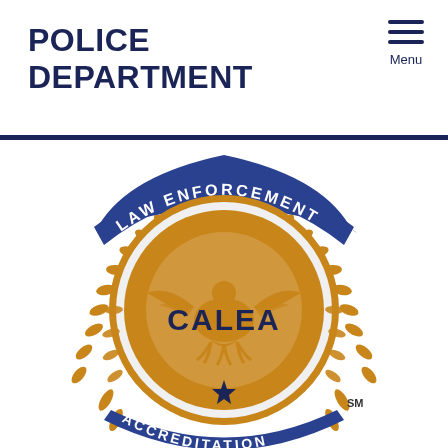POLICE DEPARTMENT
[Figure (logo): CALEA Law Enforcement Accreditation seal — a circular gold and blue emblem featuring an eagle with spread wings at the center, the text 'CALEA' in the middle, surrounded by laurel wreaths, a blue banner at the top reading 'LAW ENFORCEMENT', a star at the bottom of the inner circle, and a blue banner at the bottom reading 'ACCREDITATION', with 'SM' superscript mark. The seal is partially cropped at the bottom of the page.]